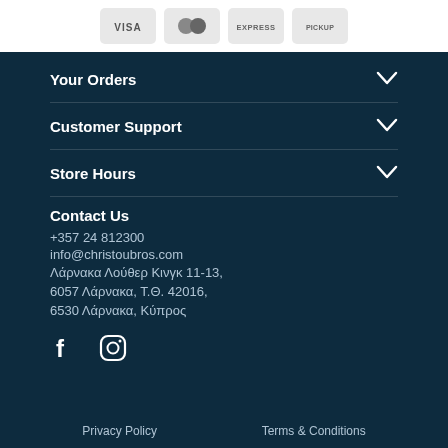[Figure (illustration): Payment method icons: VISA, Mastercard, American Express, PICKUP on light grey cards]
Your Orders
Customer Support
Store Hours
Contact Us
+357 24 812300
info@christoubros.com
Λάρνακα Λούθερ Κινγκ 11-13, 6057 Λάρνακα, Τ.Θ. 42016, 6530 Λάρνακα, Κύπρος
[Figure (illustration): Facebook and Instagram social media icons]
Privacy Policy    Terms & Conditions